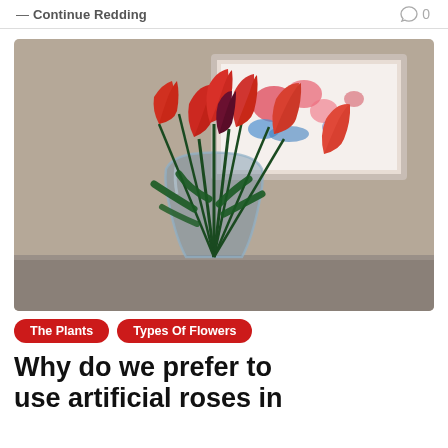— Continue Reading   0
[Figure (photo): Photo of red/orange tulips in a clear glass vase on a table, with a colorful abstract painting in a white frame on the wall behind.]
The Plants   Types Of Flowers
Why do we prefer to use artificial roses in